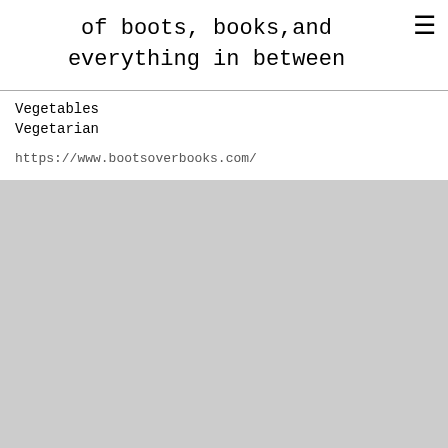of boots, books,and everything in between
Vegetables
Vegetarian
https://www.bootsoverbooks.com/
Proudly powered by Weebly